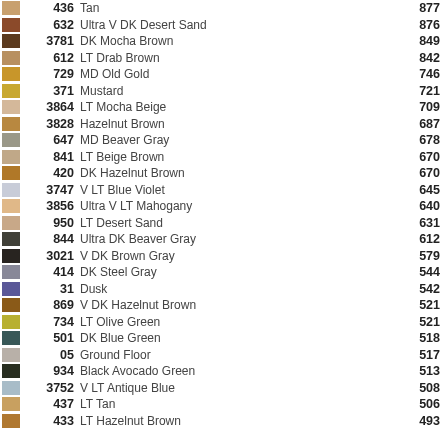436 Tan 877
632 Ultra V DK Desert Sand 876
3781 DK Mocha Brown 849
612 LT Drab Brown 842
729 MD Old Gold 746
371 Mustard 721
3864 LT Mocha Beige 709
3828 Hazelnut Brown 687
647 MD Beaver Gray 678
841 LT Beige Brown 670
420 DK Hazelnut Brown 670
3747 V LT Blue Violet 645
3856 Ultra V LT Mahogany 640
950 LT Desert Sand 631
844 Ultra DK Beaver Gray 612
3021 V DK Brown Gray 579
414 DK Steel Gray 544
31 Dusk 542
869 V DK Hazelnut Brown 521
734 LT Olive Green 521
501 DK Blue Green 518
05 Ground Floor 517
934 Black Avocado Green 513
3752 V LT Antique Blue 508
437 LT Tan 506
433 LT Hazelnut Brown 493